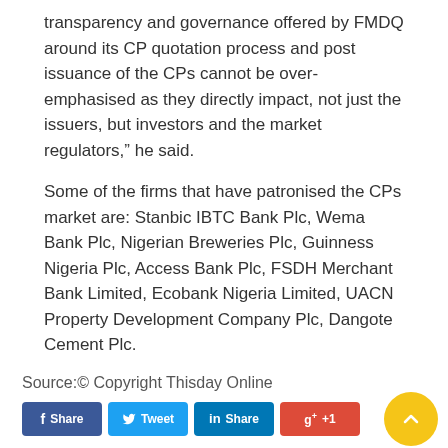transparency and governance offered by FMDQ around its CP quotation process and post issuance of the CPs cannot be over-emphasised as they directly impact, not just the issuers, but investors and the market regulators,” he said.
Some of the firms that have patronised the CPs market are: Stanbic IBTC Bank Plc, Wema Bank Plc, Nigerian Breweries Plc, Guinness Nigeria Plc, Access Bank Plc, FSDH Merchant Bank Limited, Ecobank Nigeria Limited, UACN Property Development Company Plc, Dangote Cement Plc.
Source:© Copyright Thisday Online